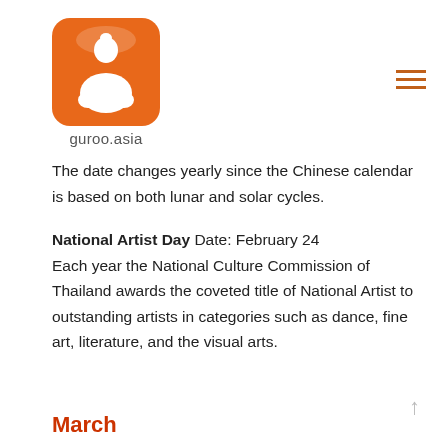[Figure (logo): guroo.asia logo: orange rounded square with white figure/person icon]
guroo.asia
The date changes yearly since the Chinese calendar is based on both lunar and solar cycles.
National Artist Day Date: February 24
Each year the National Culture Commission of Thailand awards the coveted title of National Artist to outstanding artists in categories such as dance, fine art, literature, and the visual arts.
March